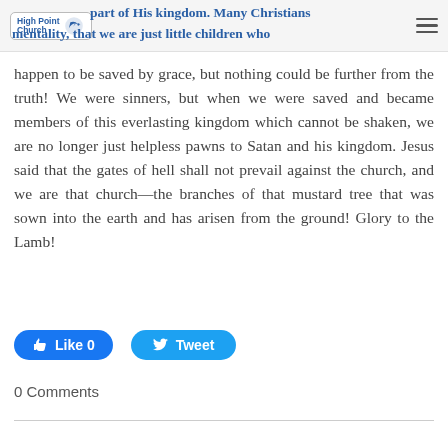High Point Church — part of His kingdom. Many Christians mentality, that we are just little children who
happen to be saved by grace, but nothing could be further from the truth! We were sinners, but when we were saved and became members of this everlasting kingdom which cannot be shaken, we are no longer just helpless pawns to Satan and his kingdom. Jesus said that the gates of hell shall not prevail against the church, and we are that church—the branches of that mustard tree that was sown into the earth and has arisen from the ground! Glory to the Lamb!
Like 0   Tweet
0 Comments